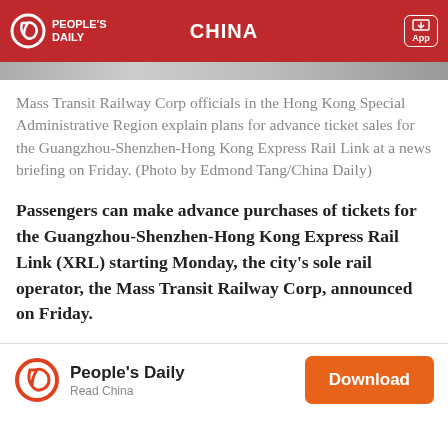PEOPLE'S DAILY — CHINA
[Figure (photo): Partial photo strip visible below header bar]
Mass Transit Railway Corp officials in the Hong Kong Special Administrative Region explain plans for advance ticket sales for the Guangzhou-Shenzhen-Hong Kong Express Rail Link at a news briefing on Friday. (Photo by Edmond Tang/China Daily)
Passengers can make advance purchases of tickets for the Guangzhou-Shenzhen-Hong Kong Express Rail Link (XRL) starting Monday, the city's sole rail operator, the Mass Transit Railway Corp, announced on Friday.
People's Daily — Read China — Download